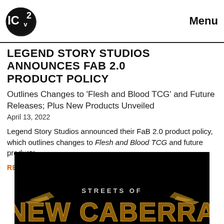ICv2  Menu
LEGEND STORY STUDIOS ANNOUNCES FAB 2.0 PRODUCT POLICY
Outlines Changes to 'Flesh and Blood TCG' and Future Releases; Plus New Products Unveiled
April 13, 2022
Legend Story Studios announced their FaB 2.0 product policy, which outlines changes to Flesh and Blood TCG and future products.
READ MORE
[Figure (logo): Streets of New Caberra logo on black background, partially visible at bottom of page]